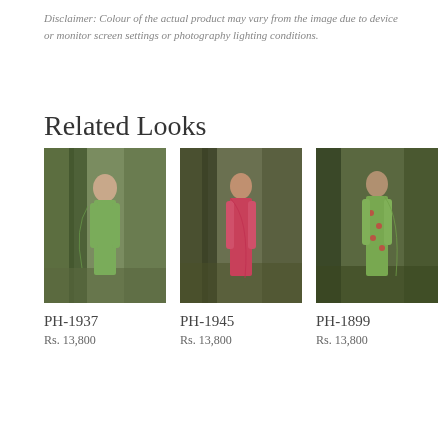Disclaimer: Colour of the actual product may vary from the image due to device or monitor screen settings or photography lighting conditions.
Related Looks
[Figure (photo): Woman wearing a sage green anarkali suit with dupatta, standing in a forest setting.]
PH-1937
Rs. 13,800
[Figure (photo): Woman wearing a hot pink anarkali dress with matching dupatta, standing in a forest setting.]
PH-1945
Rs. 13,800
[Figure (photo): Woman wearing a green and red floral print anarkali with green dupatta, standing in a forest setting.]
PH-1899
Rs. 13,800